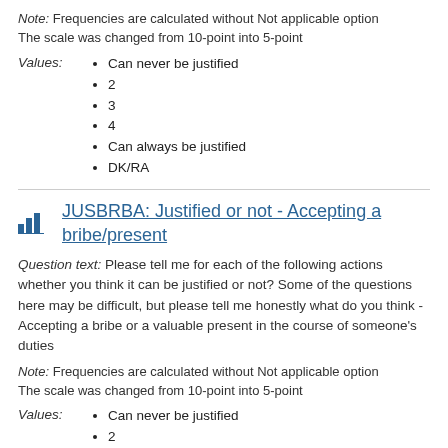Note: Frequencies are calculated without Not applicable option
The scale was changed from 10-point into 5-point
Can never be justified
2
3
4
Can always be justified
DK/RA
JUSBRBA: Justified or not - Accepting a bribe/present
Question text: Please tell me for each of the following actions whether you think it can be justified or not? Some of the questions here may be difficult, but please tell me honestly what do you think - Accepting a bribe or a valuable present in the course of someone's duties
Note: Frequencies are calculated without Not applicable option
The scale was changed from 10-point into 5-point
Can never be justified
2